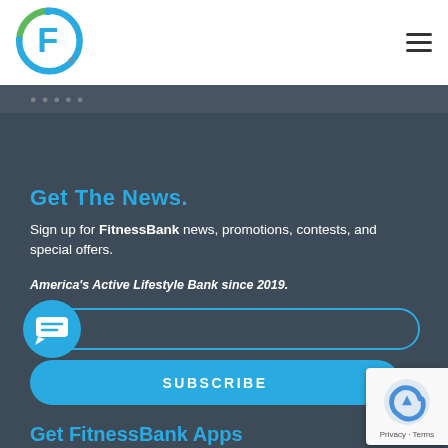[Figure (logo): FitnessBank circular logo with green and blue ring around letter F]
[Figure (other): Hamburger menu icon (three horizontal lines)]
Get The News.
Sign up for FitnessBank news, promotions, contests, and special offers.
America's Active Lifestyle Bank since 2019.
[Figure (other): Email input field with rounded border and chat bubble icon overlay on left]
[Figure (other): SUBSCRIBE button in bright blue with rounded corners]
[Figure (other): reCAPTCHA badge with Privacy and Terms links]
Get FitnessBank Apps